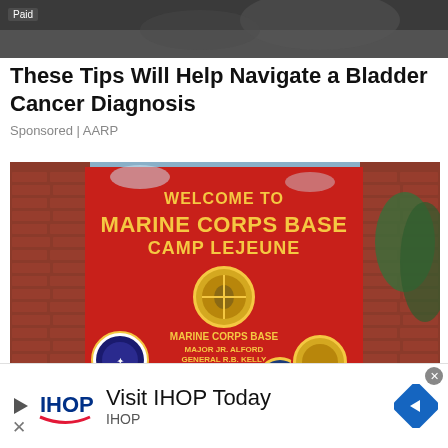[Figure (photo): Top dark/blurred photo strip with 'Paid' label overlay]
These Tips Will Help Navigate a Bladder Cancer Diagnosis
Sponsored | AARP
[Figure (photo): Welcome to Marine Corps Base Camp Lejeune sign — large red sign with yellow text and multiple unit emblems/seals, flanked by brick columns and trees]
[Figure (screenshot): IHOP advertisement banner: IHOP logo, text 'Visit IHOP Today' and 'IHOP', blue diamond arrow button, close X button]